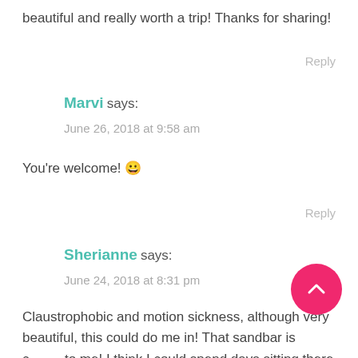beautiful and really worth a trip! Thanks for sharing!
Reply
Marvi says:
June 26, 2018 at 9:58 am
You're welcome! 😀
Reply
Sherianne says:
June 24, 2018 at 8:31 pm
Claustrophobic and motion sickness, although very beautiful, this could do me in! That sandbar is c... to me! I think I could spend days sitting there decompressing, but. of course, I would have to walk up that hill for the view too